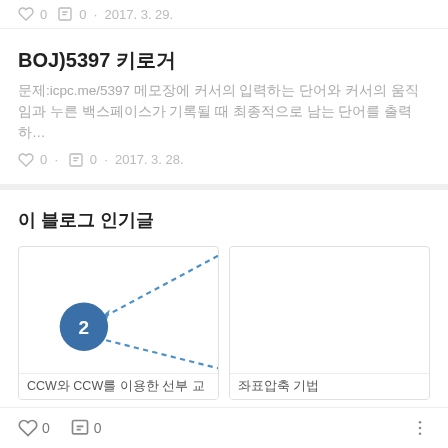♡ 0  □ 0  · 2017. 3. 29.
BOJ)5397 키로거
문제:icpc.me/5397 메모장에 커서의 입력하는 단어와 커서의 움직임과 누른 백스페이스가 기록될 때 최종적으로 남는 단어를 출력하…
♡ 0  · □ 0  · 2017. 3. 28.
이 블로그 인기글
[Figure (illustration): Card thumbnail with dotted arrow lines and blue circle labeled '2']
CCW와 CCW를 이용한 선분 교
좌표압축 기법
♡ 0   □ 0   ⋮